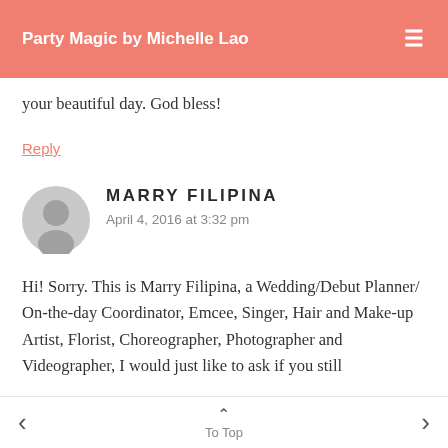Party Magic by Michelle Lao
your beautiful day. God bless!
Reply
MARRY FILIPINA
April 4, 2016 at 3:32 pm
Hi! Sorry. This is Marry Filipina, a Wedding/Debut Planner/ On-the-day Coordinator, Emcee, Singer, Hair and Make-up Artist, Florist, Choreographer, Photographer and Videographer, I would just like to ask if you still
To Top